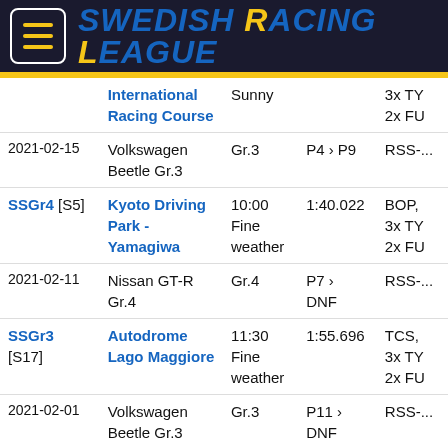Swedish Racing League
| Date/ID | Track/Car | Time/Class | Result | Notes |
| --- | --- | --- | --- | --- |
|  | International Racing Course | Sunny |  | 3x TY 2x FU |
| 2021-02-15 | Volkswagen Beetle Gr.3 | Gr.3 | P4 > P9 | RSS-... |
| SSGr4 [S5] | Kyoto Driving Park - Yamagiwa | 10:00 Fine weather | 1:40.022 | BOP, 3x TY 2x FU |
| 2021-02-11 | Nissan GT-R Gr.4 | Gr.4 | P7 > DNF | RSS-... |
| SSGr3 [S17] | Autodrome Lago Maggiore | 11:30 Fine weather | 1:55.696 | TCS, 3x TY 2x FU |
| 2021-02-01 | Volkswagen Beetle Gr.3 | Gr.3 | P11 > DNF | RSS-... |
| SSGr3 [S17] | Sardegna | 07:00 | 1:19.164 | TCS, |